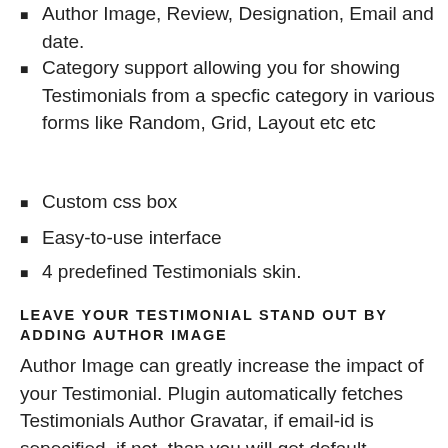Author Image, Review, Designation, Email and date.
Category support allowing you for showing Testimonials from a specfic category in various forms like Random, Grid, Layout etc etc
Custom css box
Easy-to-use interface
4 predefined Testimonials skin.
LEAVE YOUR TESTIMONIAL STAND OUT BY ADDING AUTHOR IMAGE
Author Image can greatly increase the impact of your Testimonial. Plugin automatically fetches Testimonials Author Gravatar, if email-id is sepecified, if not, than you will get default Gravatar. You can also upload custom author image.
SHOW TESTIMONIALS IN VARIOUS LAYOUTS